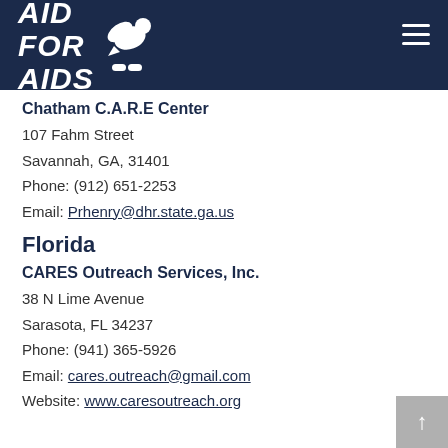[Figure (logo): Aid for AIDS logo with white dove and text on dark navy background, with hamburger menu icon top right]
Chatham C.A.R.E Center
107 Fahm Street
Savannah, GA, 31401
Phone: (912) 651-2253
Email: Prhenry@dhr.state.ga.us
Florida
CARES Outreach Services, Inc.
38 N Lime Avenue
Sarasota, FL 34237
Phone: (941) 365-5926
Email: cares.outreach@gmail.com
Website: www.caresoutreach.org